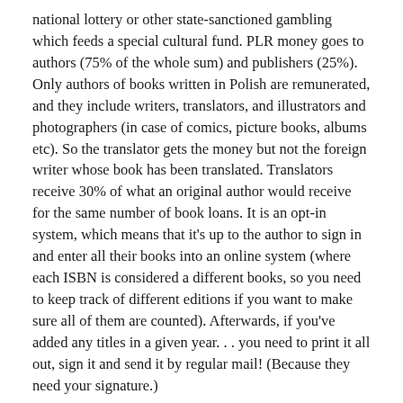national lottery or other state-sanctioned gambling which feeds a special cultural fund. PLR money goes to authors (75% of the whole sum) and publishers (25%). Only authors of books written in Polish are remunerated, and they include writers, translators, and illustrators and photographers (in case of comics, picture books, albums etc). So the translator gets the money but not the foreign writer whose book has been translated. Translators receive 30% of what an original author would receive for the same number of book loans. It is an opt-in system, which means that it's up to the author to sign in and enter all their books into an online system (where each ISBN is considered a different books, so you need to keep track of different editions if you want to make sure all of them are counted). Afterwards, if you've added any titles in a given year. . . you need to print it all out, sign it and send it by regular mail! (Because they need your signature.)
There is a lot of criticism concerning how the book loans